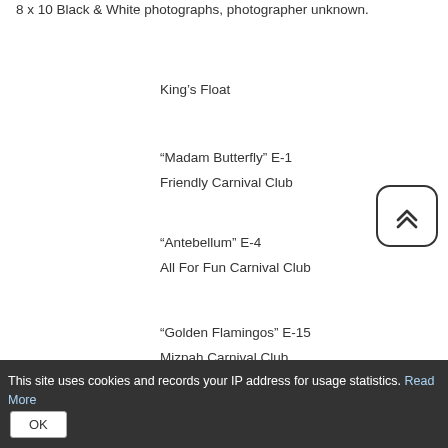8 x 10 Black & White photographs, photographer unknown.
King’s Float
“Madam Butterfly” E-1
Friendly Carnival Club
“Antebellum” E-4
All For Fun Carnival Club
“Golden Flamingos” E-15
Mizpah Carnival Club
This site uses cookies and records your IP address for usage statistics. Read More
OK